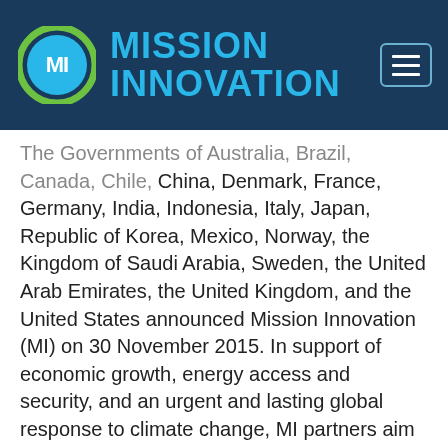[Figure (logo): Mission Innovation logo: circular MI emblem in green and blue on dark navy background, with 'MISSION INNOVATION' text in bold cyan/blue, and a hamburger menu icon in top right]
The Governments of Australia, Brazil, Canada, Chile, China, Denmark, France, Germany, India, Indonesia, Italy, Japan, Republic of Korea, Mexico, Norway, the Kingdom of Saudi Arabia, Sweden, the United Arab Emirates, the United Kingdom, and the United States announced Mission Innovation (MI) on 30 November 2015. In support of economic growth, energy access and security, and an urgent and lasting global response to climate change, MI partners aim to accelerate the pace of clean energy innovation to achieve performance breakthroughs and cost reductions to provide widely affordable and reliable clean energy solutions that will revolutionize energy systems throughout the world over the next two decades and beyond. The European Commission (on behalf of the European Union), Netherlands and